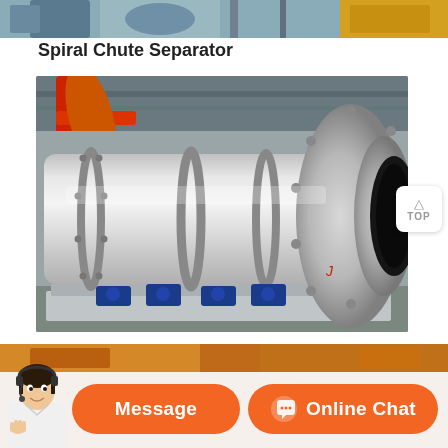[Figure (photo): Partial top strip showing industrial equipment — blue and yellow machinery components in a factory setting]
Spiral Chute Separator
[Figure (photo): Large cylindrical industrial drum/rotary machine (likely a rotary dryer or ball mill) made of polished stainless steel, mounted on blue motor drives on a pallet, inside an industrial workshop with red overhead crane]
[Figure (photo): Partial bottom strip showing another industrial machine]
Message
Online Chat